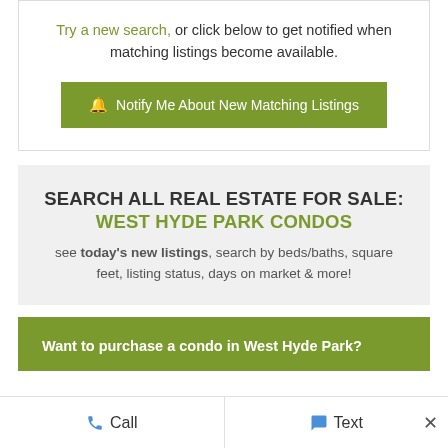Try a new search, or click below to get notified when matching listings become available.
Notify Me About New Matching Listings
SEARCH ALL REAL ESTATE FOR SALE: WEST HYDE PARK CONDOS
see today's new listings, search by beds/baths, square feet, listing status, days on market & more!
Want to purchase a condo in West Hyde Park?
Call
Text